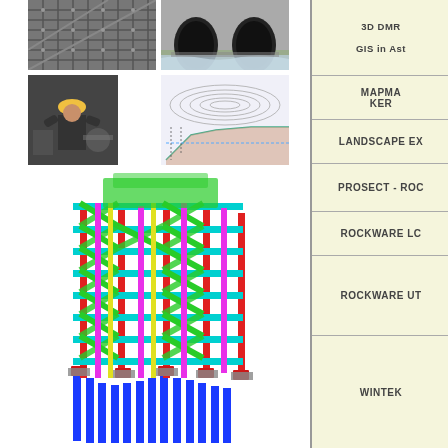[Figure (photo): Construction/engineering photos grid: top-left shows metal mesh/rebar structure, top-right shows tunnel entrance with water, mid-left shows worker in hard hat, mid-right shows engineering cross-section diagram]
[Figure (engineering-diagram): 3D structural engineering model of a multi-story building showing colorful frame structure with red vertical columns, cyan horizontal beams, green diagonal bracing, pink/magenta members, yellow accents, and blue foundation piles]
3D DMR
GIS in Ast
MAPMAKER
LANDSCAPE EX
PROSECT - ROC
ROCKWARE LC
ROCKWARE UT
WINTEK